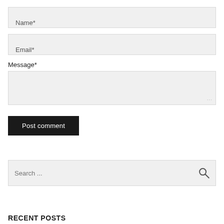Name*
Email*
Message*
Post comment
Search ...
RECENT POSTS